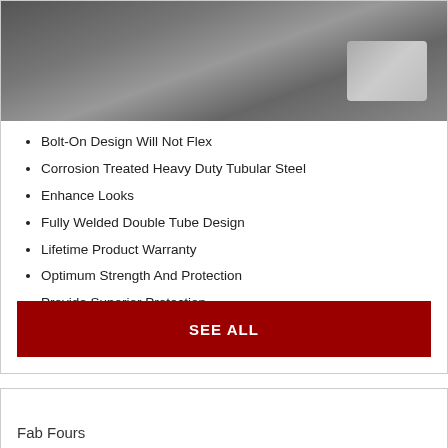[Figure (photo): Photo of a vehicle running board or side step, showing metallic tubular steel bar attached to a truck door sill, with water and sunlight reflection on ground]
Bolt-On Design Will Not Flex
Corrosion Treated Heavy Duty Tubular Steel
Enhance Looks
Fully Welded Double Tube Design
Lifetime Product Warranty
Optimum Strength And Protection
Provide Superior Protection
SEE ALL
Fab Fours